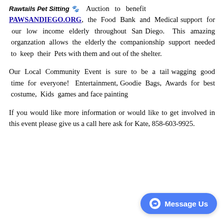Rawtails Pet Sitting  Auction to benefit PAWSANDIEGO.ORG, the Food Bank and Medical support for our low income elderly throughout San Diego.  This amazing organzation allows the elderly the companionship support needed to keep their Pets with them and out of the shelter.
Our Local Community Event is sure to be a tail wagging good time for everyone!  Entertainment, Goodie Bags, Awards for best costume, Kids games and face painting
If you would like more information or would like to get involved in this event please give us a call here ask for Kate, 858-603-9925.